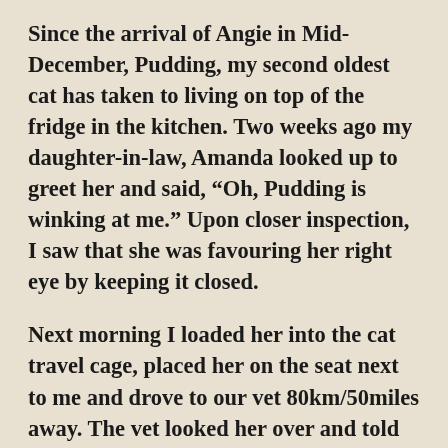Since the arrival of Angie in Mid-December, Pudding, my second oldest cat has taken to living on top of the fridge in the kitchen. Two weeks ago my daughter-in-law, Amanda looked up to greet her and said, “Oh, Pudding is winking at me.” Upon closer inspection, I saw that she was favouring her right eye by keeping it closed.

Next morning I loaded her into the cat travel cage, placed her on the seat next to me and drove to our vet 80km/50miles away. The vet looked her over and told me she’d like to keep her in hospital for a day or two. When I phoned the next morning, she said that the eye injury was probably due to a fight she had with one of the other cats here at home (I wracked my brain